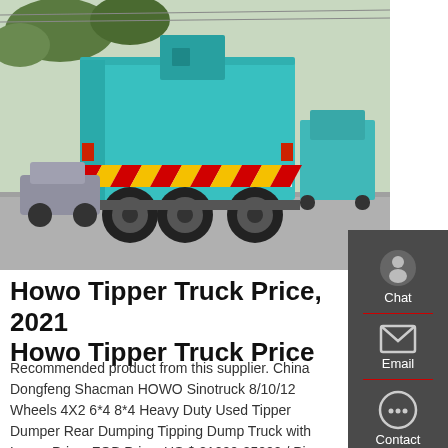[Figure (photo): Rear view of a teal/turquoise Howo tipper/dumper truck on a road, with red/yellow reflective chevrons on the rear. Other trucks and parked cars visible in background.]
Howo Tipper Truck Price, 2021 Howo Tipper Truck Price
Recommended product from this supplier. China Dongfeng Shacman HOWO Sinotruck 8/10/12 Wheels 4X2 6*4 8*4 Heavy Duty Used Tipper Dumper Rear Dumping Tipping Dump Truck with Lower Price. FOB Price: US $ 21000-25000 / Piece. Min. Order: 10